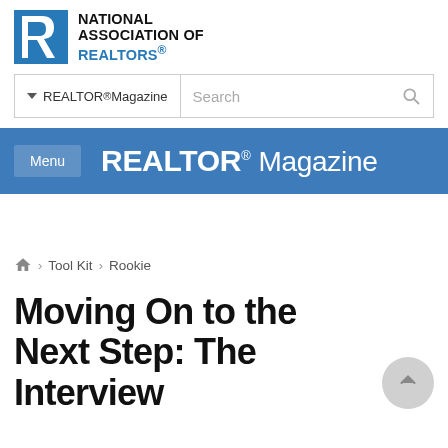[Figure (logo): National Association of Realtors logo: blue square with stylized R, beside text NATIONAL ASSOCIATION OF REALTORS®]
REALTOR® Magazine  Search
Menu  REALTOR® Magazine
🏠 › Tool Kit › Rookie
Moving On to the Next Step: The Interview